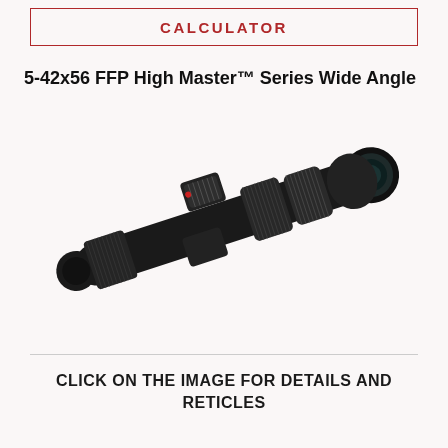CALCULATOR
5-42x56 FFP High Master™ Series Wide Angle
[Figure (photo): A rifle scope (5-42x56 FFP High Master Series Wide Angle) photographed at an angle on a light background, showing the objective lens, turret adjustments, and eyepiece. The scope is black with textured grip rings.]
CLICK ON THE IMAGE FOR DETAILS AND RETICLES